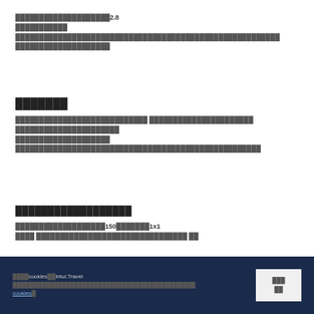████████████████████2.8███████████ ████████████████████████████████████████████████████████
███████
████████████████████████████ ██████████████████████ ███████████████████████████████████████████████████████████████████████████████
██████████████████
████████████████████150███████1x1████ ████████████████████████████████ ██
████cookies██Intui.Travel█████████████████████████████████cookies█  ███ ██